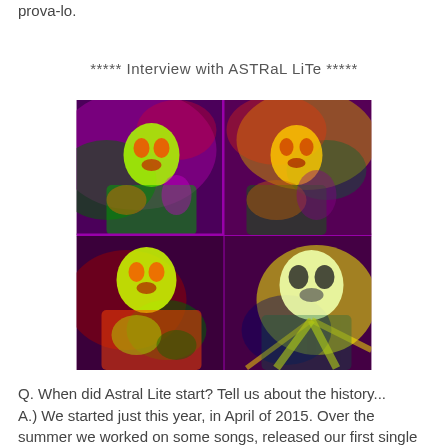prova-lo.
***** Interview with ASTRaL LiTe *****
[Figure (photo): Four-panel psychedelic photo collage of band members with colorful infrared-style processing, showing four people against vivid purple, green, red, and yellow hues.]
Q. When did Astral Lite start? Tell us about the history...
A.) We started just this year, in April of 2015. Over the summer we worked on some songs, released our first single